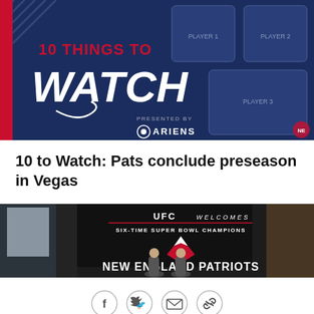[Figure (photo): Promotional graphic with dark navy background showing '10 THINGS TO WATCH' text in red and white, with photos of New England Patriots players and Ariens sponsor logo]
10 to Watch: Pats conclude preseason in Vegas
[Figure (photo): UFC Welcomes Six-Time Super Bowl Champions New England Patriots banner with two men standing in front of it]
[Figure (infographic): Social sharing buttons: Facebook, Twitter, Email, Link]